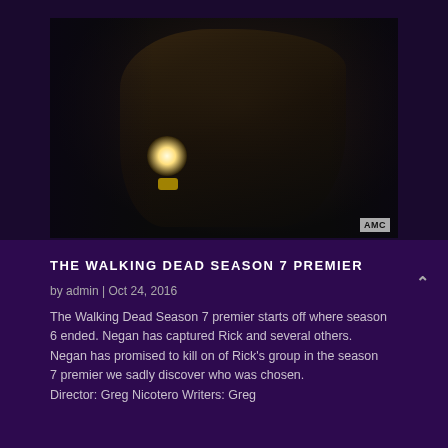[Figure (photo): Dark, comic-book styled still from The Walking Dead showing a menacing man (Negan) leaning forward in dim lighting with a bright light source in the lower left. AMC network logo in bottom right corner.]
THE WALKING DEAD SEASON 7 PREMIER
by admin | Oct 24, 2016
The Walking Dead Season 7 premier starts off where season 6 ended. Negan has captured Rick and several others. Negan has promised to kill on of Rick's group in the season 7 premier we sadly discover who was chosen.
Director: Greg Nicotero Writers: Greg